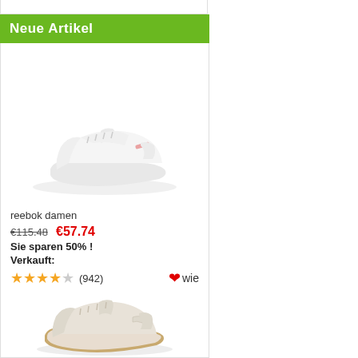Neue Artikel
[Figure (photo): White Reebok classic leather sneaker, women's model, viewed from the side at a slight angle, on white background]
reebok damen
€115.48   €57.74
Sie sparen 50% !
Verkauft:
★★★★☆ (942)   ❤wie
[Figure (photo): Beige/off-white Reebok classic leather sneaker with gum sole, women's model, viewed from the side at a slight angle]